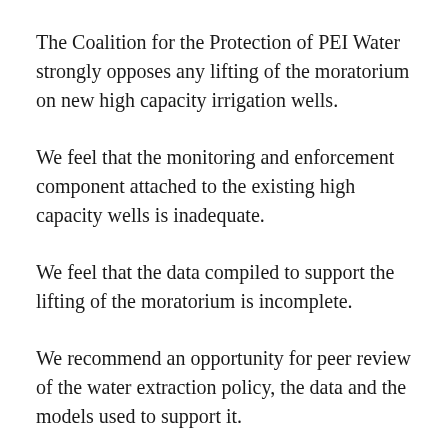The Coalition for the Protection of PEI Water strongly opposes any lifting of the moratorium on new high capacity irrigation wells.
We feel that the monitoring and enforcement component attached to the existing high capacity wells is inadequate.
We feel that the data compiled to support the lifting of the moratorium is incomplete.
We recommend an opportunity for peer review of the water extraction policy, the data and the models used to support it.